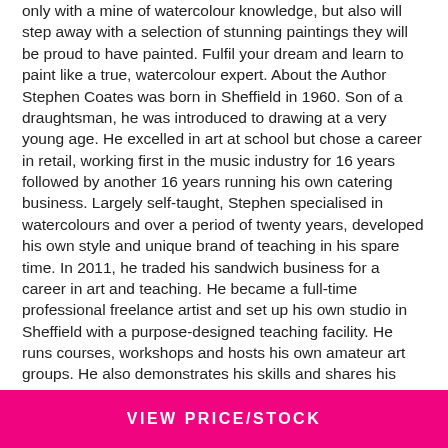only with a mine of watercolour knowledge, but also will step away with a selection of stunning paintings they will be proud to have painted. Fulfil your dream and learn to paint like a true, watercolour expert. About the Author Stephen Coates was born in Sheffield in 1960. Son of a draughtsman, he was introduced to drawing at a very young age. He excelled in art at school but chose a career in retail, working first in the music industry for 16 years followed by another 16 years running his own catering business. Largely self-taught, Stephen specialised in watercolours and over a period of twenty years, developed his own style and unique brand of teaching in his spare time. In 2011, he traded his sandwich business for a career in art and teaching. He became a full-time professional freelance artist and set up his own studio in Sheffield with a purpose-designed teaching facility. He runs courses, workshops and hosts his own amateur art groups. He also demonstrates his skills and shares his expertise at art society meetings all over England. Stephen's successful teaching business inspired
VIEW PRICE/STOCK